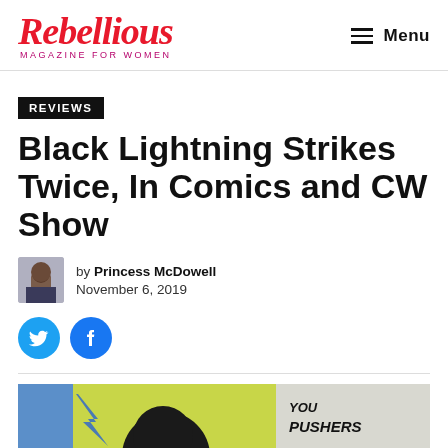Rebellious Magazine for Women | Menu
REVIEWS
Black Lightning Strikes Twice, In Comics and CW Show
by Princess McDowell
November 6, 2019
[Figure (illustration): Comic book panel showing a figure with dark hair against a yellow-green background with the text 'YOU PUSHERS']